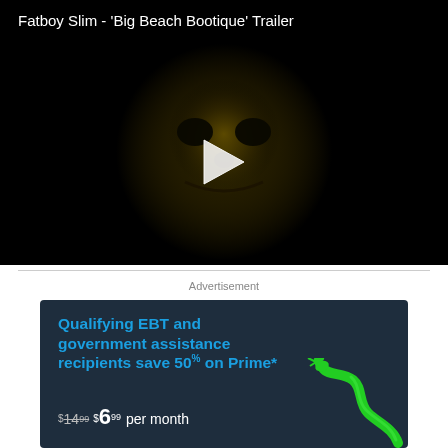[Figure (screenshot): Video player thumbnail showing a dark image of a face/mask with a white play button triangle in the center. Title reads: Fatboy Slim - 'Big Beach Bootique' Trailer]
Fatboy Slim - 'Big Beach Bootique' Trailer
Advertisement
[Figure (other): Amazon Prime advertisement banner on dark blue background. Text: Qualifying EBT and government assistance recipients save 50% on Prime*. Price: $14.99 $6.99 per month. Decorative green snake graphic in bottom right.]